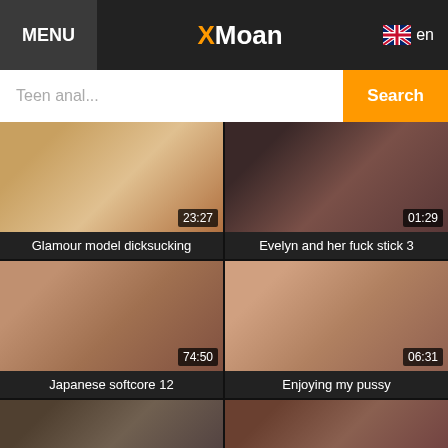MENU | XMoan | en
Teen anal... Search
[Figure (screenshot): Video thumbnail for 'Glamour model dicksucking', duration 23:27]
Glamour model dicksucking
[Figure (screenshot): Video thumbnail for 'Evelyn and her fuck stick 3', duration 01:29]
Evelyn and her fuck stick 3
[Figure (screenshot): Video thumbnail for 'Japanese softcore 12', duration 74:50]
Japanese softcore 12
[Figure (screenshot): Video thumbnail for 'Enjoying my pussy', duration 06:31]
Enjoying my pussy
[Figure (screenshot): Video thumbnail, partially visible at bottom left]
[Figure (screenshot): Video thumbnail, partially visible at bottom right]